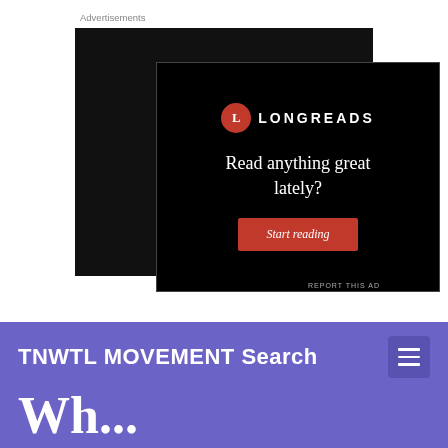Advertisements
[Figure (screenshot): Longreads advertisement banner on black background. Shows Longreads logo (red circle with L, followed by LONGREADS in white caps), headline text 'Read anything great lately?', and a red button labeled 'Start reading'.]
REPORT THIS AD
TNWTL MOVEMENT Search
Wh...